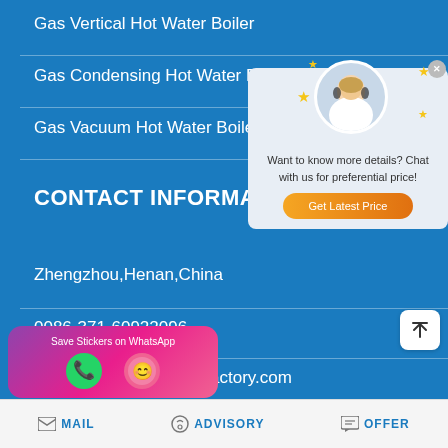Gas Vertical Hot Water Boiler
Gas Condensing Hot Water Boiler
Gas Vacuum Hot Water Boiler
CONTACT INFORMATION
Zhengzhou,Henan,China
0086-371-60922096
quotation@boilermanufactory.com
[Figure (screenshot): Chat popup with agent avatar, stars, text 'Want to know more details? Chat with us for preferential price!' and orange 'Get Latest Price' button]
[Figure (infographic): WhatsApp sticker saver banner with purple-pink gradient, phone and emoji icons, 'Save Stickers on WhatsApp' label]
MAIL   ADVISORY   OFFER